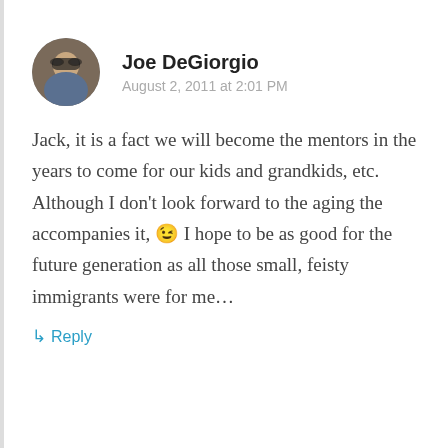[Figure (photo): Circular avatar photo of Joe DeGiorgio, a person wearing sunglasses outdoors]
Joe DeGiorgio
August 2, 2011 at 2:01 PM
Jack, it is a fact we will become the mentors in the years to come for our kids and grandkids, etc. Although I don't look forward to the aging the accompanies it, 😉 I hope to be as good for the future generation as all those small, feisty immigrants were for me…
↳ Reply